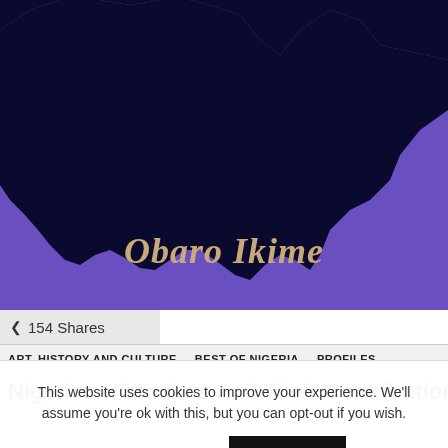[Figure (map): Purple and dark navy map silhouette of Nigeria with text 'Obaro Ikime' overlaid in tan/gold italic serif font]
154 Shares
ART, HISTORY AND CULTURE   BEST OF NIGERIA   PROFILES
Nigerian Historians And Their Contributions To
This website uses cookies to improve your experience. We'll assume you're ok with this, but you can opt-out if you wish.
Cookie settings   ACCEPT